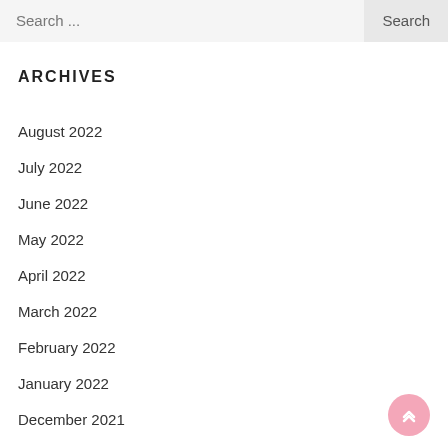Search ...  Search
ARCHIVES
August 2022
July 2022
June 2022
May 2022
April 2022
March 2022
February 2022
January 2022
December 2021